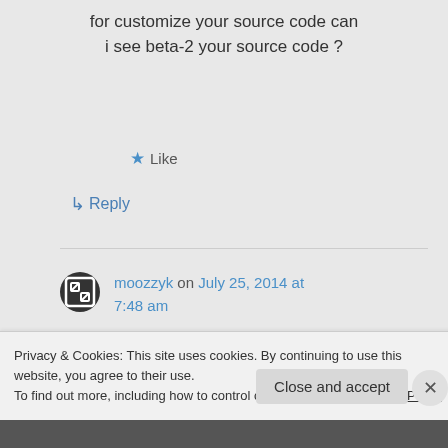for customize your source code can i see beta-2 your source code ?
★ Like
↳ Reply
moozzyk on July 25, 2014 at 7:48 am
Code is on codeplex –
http://efcache.codeplex.com/
Privacy & Cookies: This site uses cookies. By continuing to use this website, you agree to their use.
To find out more, including how to control cookies, see here: Cookie Policy
Close and accept